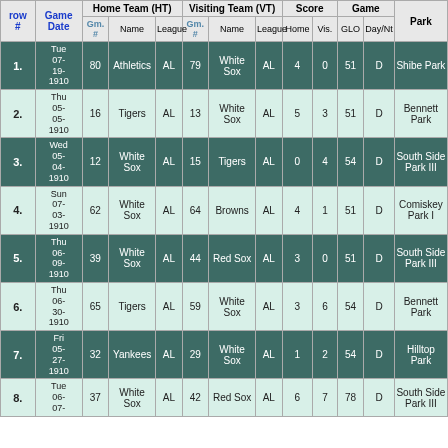| row # | Game Date | Gm. # | Name | League | Gm. # | Name | League | Home | Vis. | GLO | Day/Nt | Name |
| --- | --- | --- | --- | --- | --- | --- | --- | --- | --- | --- | --- | --- |
| 1. | Tue 07-19-1910 | 80 | Athletics | AL | 79 | White Sox | AL | 4 | 0 | 51 | D | Shibe Park |
| 2. | Thu 05-05-1910 | 16 | Tigers | AL | 13 | White Sox | AL | 5 | 3 | 51 | D | Bennett Park |
| 3. | Wed 05-04-1910 | 12 | White Sox | AL | 15 | Tigers | AL | 0 | 4 | 54 | D | South Side Park III |
| 4. | Sun 07-03-1910 | 62 | White Sox | AL | 64 | Browns | AL | 4 | 1 | 51 | D | Comiskey Park I |
| 5. | Thu 06-09-1910 | 39 | White Sox | AL | 44 | Red Sox | AL | 3 | 0 | 51 | D | South Side Park III |
| 6. | Thu 06-30-1910 | 65 | Tigers | AL | 59 | White Sox | AL | 3 | 6 | 54 | D | Bennett Park |
| 7. | Fri 05-27-1910 | 32 | Yankees | AL | 29 | White Sox | AL | 1 | 2 | 54 | D | Hilltop Park |
| 8. | Tue 06-07-1910 | 37 | White Sox | AL | 42 | Red Sox | AL | 6 | 7 | 78 | D | South Side Park III |